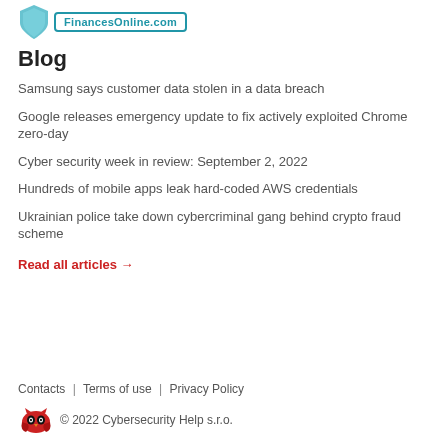FinancesOnline.com
Blog
Samsung says customer data stolen in a data breach
Google releases emergency update to fix actively exploited Chrome zero-day
Cyber security week in review: September 2, 2022
Hundreds of mobile apps leak hard-coded AWS credentials
Ukrainian police take down cybercriminal gang behind crypto fraud scheme
Read all articles →
Contacts | Terms of use | Privacy Policy  © 2022 Cybersecurity Help s.r.o.